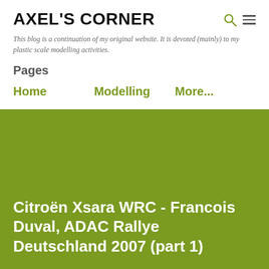AXEL'S CORNER
This blog is a continuation of my original website. It is devoted (mainly) to my plastic scale modelling activities.
Pages
Home
Modelling
More...
Citroën Xsara WRC - Francois Duval, ADAC Rallye Deutschland 2007 (part 1)